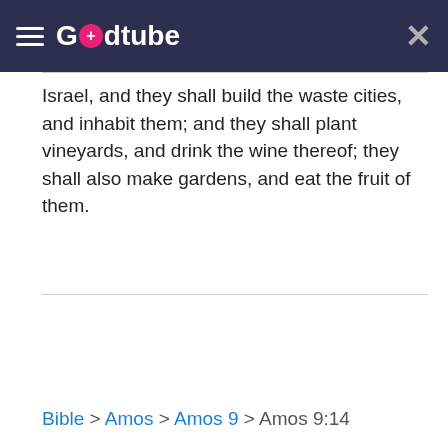Godtube
Israel, and they shall build the waste cities, and inhabit them; and they shall plant vineyards, and drink the wine thereof; they shall also make gardens, and eat the fruit of them.
Bible > Amos > Amos 9 > Amos 9:14